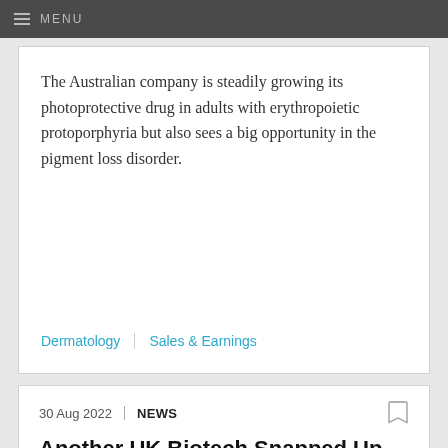MENU
The Australian company is steadily growing its photoprotective drug in adults with erythropoietic protoporphyria but also sees a big opportunity in the pigment loss disorder.
Dermatology | Sales & Earnings
30 Aug 2022 | NEWS
Another UK Biotech Snapped Up As